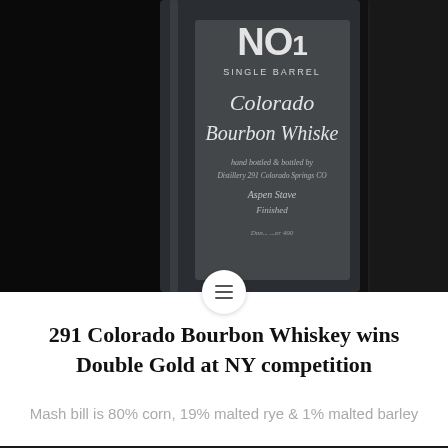[Figure (photo): Close-up photo of a 291 Single Barrel Colorado Bourbon Whiskey bottle label against a dark background]
291 Colorado Bourbon Whiskey wins Double Gold at NY competition
Mash bill is 80% corn, 19% malted rye & 1% malted barley
[Figure (photo): A pint glass of amber beer with a white foam head on a bar counter with colorful neon signs in the dark background]